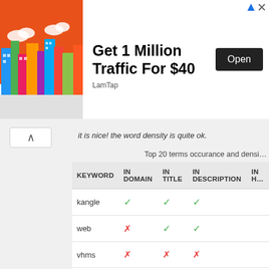[Figure (illustration): Advertisement banner: cityscape illustration on left with orange sky and colorful buildings; text reads 'Get 1 Million Traffic For $40' with 'LamTap' source and 'Open' button on right]
it is nice! the word density is quite ok.
Top 20 terms occurance and densi...
| KEYWORD | IN DOMAIN | IN TITLE | IN DESCRIPTION | IN H... |
| --- | --- | --- | --- | --- |
| kangle | ✓ | ✓ | ✓ |  |
| web | ✗ | ✓ | ✓ |  |
| vhms | ✗ | ✗ | ✗ |  |
| easypanel | ✗ | ✗ | ✗ |  |
| cdn | ✗ | ✗ | ✗ |  |
| copyright | ✗ | ✗ | ✗ |  |
| kanglesoft | ✓ | ✗ | ✗ |  |
| reserved | ✗ | ✗ | ✗ |  |